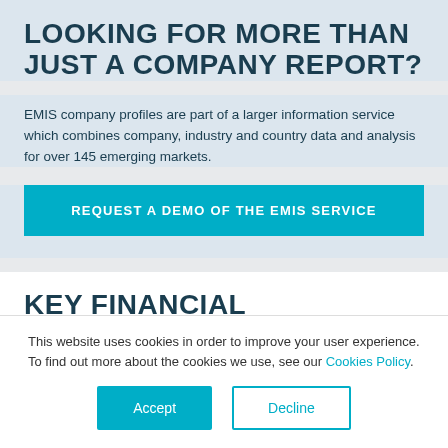LOOKING FOR MORE THAN JUST A COMPANY REPORT?
EMIS company profiles are part of a larger information service which combines company, industry and country data and analysis for over 145 emerging markets.
REQUEST A DEMO OF THE EMIS SERVICE
KEY FINANCIAL HIGHLIGHTS
Annual growth percentages for latest two years in
This website uses cookies in order to improve your user experience. To find out more about the cookies we use, see our Cookies Policy.
Accept
Decline